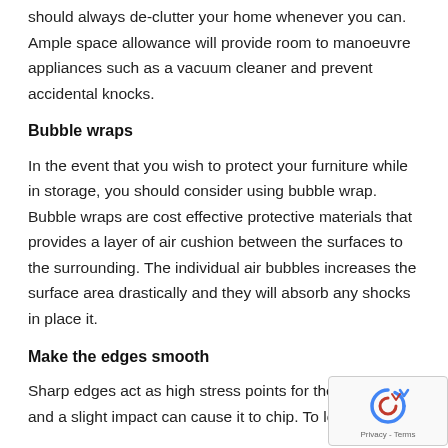should always de-clutter your home whenever you can. Ample space allowance will provide room to manoeuvre appliances such as a vacuum cleaner and prevent accidental knocks.
Bubble wraps
In the event that you wish to protect your furniture while in storage, you should consider using bubble wrap. Bubble wraps are cost effective protective materials that provides a layer of air cushion between the surfaces to the surrounding. The individual air bubbles increases the surface area drastically and they will absorb any shocks in place it.
Make the edges smooth
Sharp edges act as high stress points for the furnit… and a slight impact can cause it to chip. To lower the…